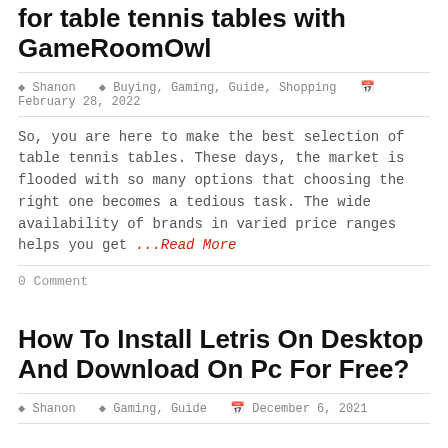for table tennis tables with GameRoomOwl
Shanon  Buying, Gaming, Guide, Shopping  February 28, 2022
So, you are here to make the best selection of table tennis tables. These days, the market is flooded with so many options that choosing the right one becomes a tedious task. The wide availability of brands in varied price ranges helps you get ...Read More
0 Comment
How To Install Letris On Desktop And Download On Pc For Free?
Shanon  Gaming, Guide  December 6, 2021